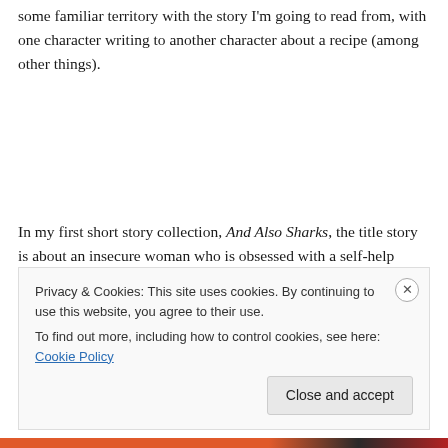some familiar territory with the story I'm going to read from, with one character writing to another character about a recipe (among other things).
In my first short story collection, And Also Sharks, the title story is about an insecure woman who is obsessed with a self-help blogger named Janet. I read an excerpt from that story to narrate this book trailer, which still makes me smile, produced with the help of Jonathan Culp (who
Privacy & Cookies: This site uses cookies. By continuing to use this website, you agree to their use.
To find out more, including how to control cookies, see here: Cookie Policy